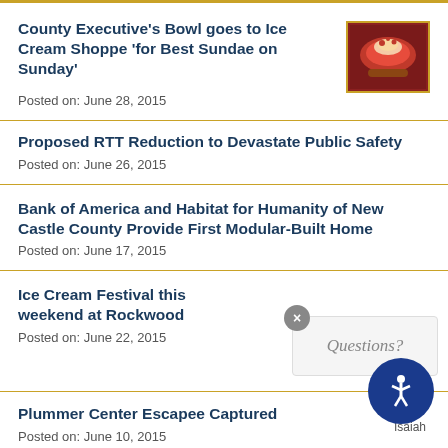County Executive's Bowl goes to Ice Cream Shoppe 'for Best Sundae on Sunday'
Posted on: June 28, 2015
Proposed RTT Reduction to Devastate Public Safety
Posted on: June 26, 2015
Bank of America and Habitat for Humanity of New Castle County Provide First Modular-Built Home
Posted on: June 17, 2015
Ice Cream Festival this weekend at Rockwood
Posted on: June 22, 2015
Plummer Center Escapee Captured
Posted on: June 10, 2015